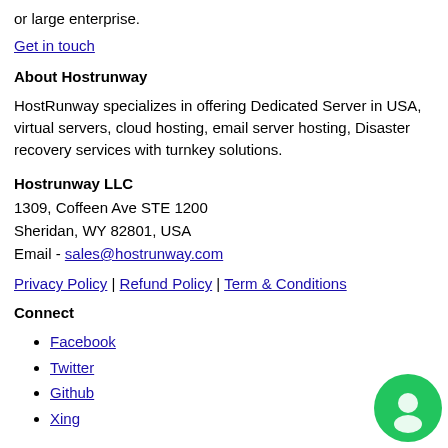or large enterprise.
Get in touch
About Hostrunway
HostRunway specializes in offering Dedicated Server in USA, virtual servers, cloud hosting, email server hosting, Disaster recovery services with turnkey solutions.
Hostrunway LLC
1309, Coffeen Ave STE 1200
Sheridan, WY 82801, USA
Email - sales@hostrunway.com
Privacy Policy | Refund Policy | Term & Conditions
Connect
Facebook
Twitter
Github
Xing